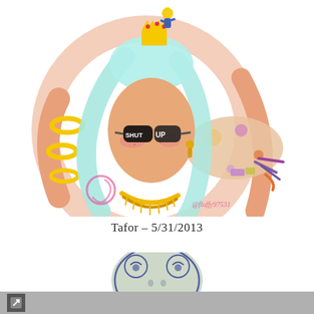[Figure (illustration): Colorful digital illustration of a stylized female character with light blue/teal hair, wearing black sunglasses that say 'SHUT UP', a gold necklace, gold arm rings, a small gold crown on her head with a tiny figure on top, and a large creature resembling a platypus or narwhal in the background. Art is signed '@fluffy97531'. White background.]
Tafor – 5/31/2013
[Figure (illustration): Partial illustration of a cartoonish frog drawn in blue/grey tones, showing the head and upper body, partially cut off at the bottom of the page.]
↗